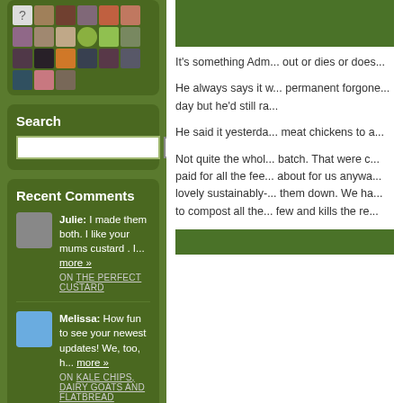[Figure (photo): Grid of small user avatar images on dark green background]
Search
Recent Comments
Julie: I made them both. I like your mums custard . I... more »
ON THE PERFECT CUSTARD
Melissa: How fun to see your newest updates! We, too, h... more »
ON KALE CHIPS, DAIRY GOATS AND FLATBREAD
[Figure (photo): Green grass/foliage photo at top of right column]
It's something Adm... out or dies or does...
He always says it w... permanent forgone... day but he'd still ra...
He said it yesterda... meat chickens to a...
Not quite the whol... batch. That were c... paid for all the fee... about for us anywa... lovely sustainably-... them down. We ha... to compost all the... few and kills the re...
[Figure (photo): Green grass photo at bottom of right column]